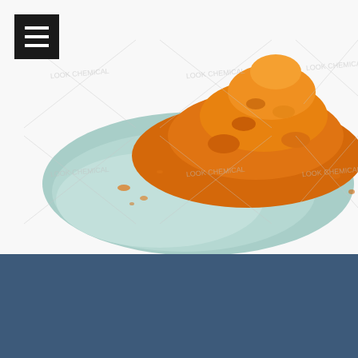[Figure (photo): Orange/yellow turmeric powder piled on a light blue ceramic plate, on white background, with LOOK CHEMICAL watermark pattern overlaid in a grid]
Contact us
⊙ wechat：+86 17653113219
[Figure (other): Blue Message button with chat icon on right side of footer]